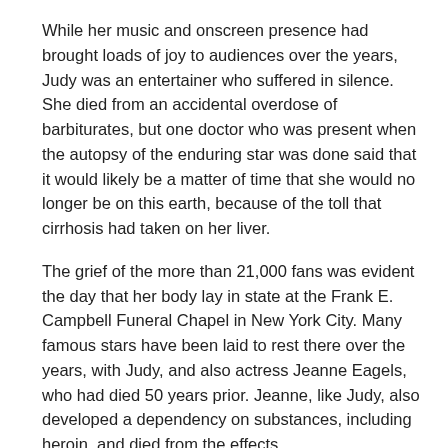While her music and onscreen presence had brought loads of joy to audiences over the years, Judy was an entertainer who suffered in silence. She died from an accidental overdose of barbiturates, but one doctor who was present when the autopsy of the enduring star was done said that it would likely be a matter of time that she would no longer be on this earth, because of the toll that cirrhosis had taken on her liver.
The grief of the more than 21,000 fans was evident the day that her body lay in state at the Frank E. Campbell Funeral Chapel in New York City. Many famous stars have been laid to rest there over the years, with Judy, and also actress Jeanne Eagels, who had died 50 years prior. Jeanne, like Judy, also developed a dependency on substances, including heroin, and died from the effects.
The reaction to her death and outpouring of affection from her fans throughout the entire night of June 26, 1969 who passed through the funeral home, and the depth of their grief was evident. Some reportedly cried when a youngster carrying a battery operated, portable record player, began playing some of Judy's records at the viewing as they passed by her coffin, covered with glass. To this day at Ferncliff Mausoleum north of New York City, fans still leave flowers, photos and other tokens of affection for Judy. Some of these fans were not even